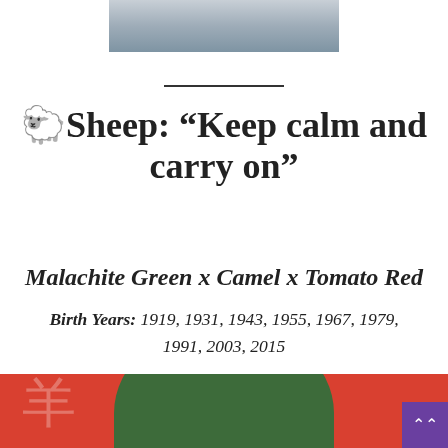[Figure (photo): Partial photo of a person, cropped at top of page, showing mostly gray/blue tones]
🐑Sheep: “Keep calm and carry on”
Malachite Green x Camel x Tomato Red
Birth Years: 1919, 1931, 1943, 1955, 1967, 1979, 1991, 2003, 2015
[Figure (illustration): Red background with Chinese character for sheep (羊) on left, large dark green semicircle in center, text KEEP partially visible at bottom, purple scroll-up button at bottom right]